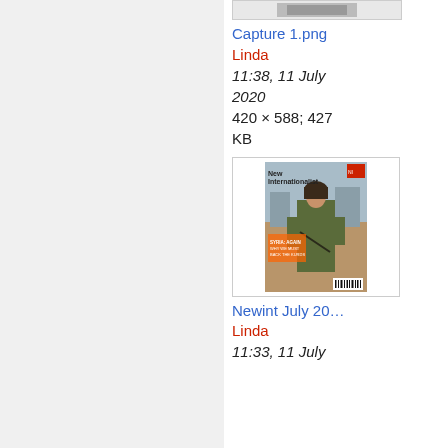[Figure (screenshot): Thumbnail image box at top of right panel (partially visible, small image)]
Capture 1.png
Linda
11:38, 11 July 2020
420 × 588; 427 KB
[Figure (photo): New Internationalist magazine cover showing a woman in military attire in front of a landscape, with the headline 'Syria: Again Why We Must Back the Kurds']
Newint July 20…
Linda
11:33, 11 July